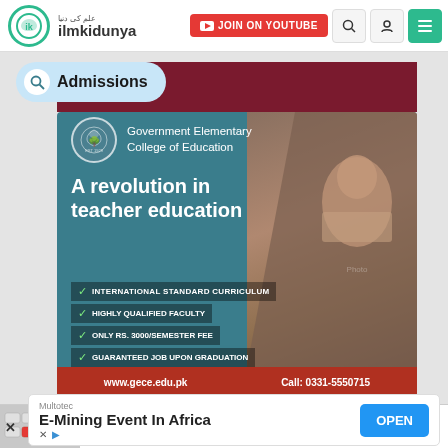ilmkidunya — JOIN ON YOUTUBE
Admissions
[Figure (infographic): Government Elementary College of Education advertisement banner. Teal background with college seal, text reading 'A revolution in teacher education', checklist items: INTERNATIONAL STANDARD CURRICULUM, HIGHLY QUALIFIED FACULTY, ONLY RS. 3000/SEMESTER FEE, GUARANTEED JOB UPON GRADUATION. Footer: www.gece.edu.pk  Call: 0331-5550715]
19-Aug-2022
Faisalabad and Rawalpindi Boards
Multotec
E-Mining Event In Africa